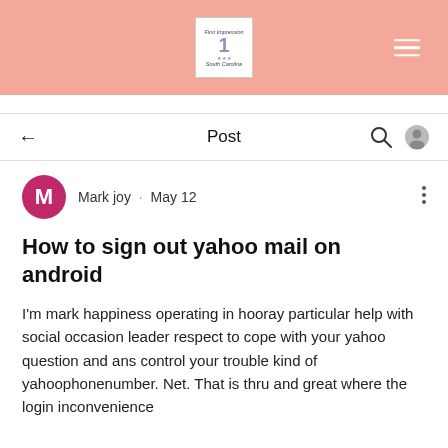[Figure (screenshot): Website header banner with pink/salmon background, a logo box reading 'First Impression South Carolina' with a number 1, and a white hamburger menu icon on the right]
Post
Mark joy · May 12
How to sign out yahoo mail on android
I'm mark happiness operating in hooray particular help with social occasion leader respect to cope with your yahoo question and ans control your trouble kind of yahoophonenumber. Net. That is thru and great where the login inconvenience